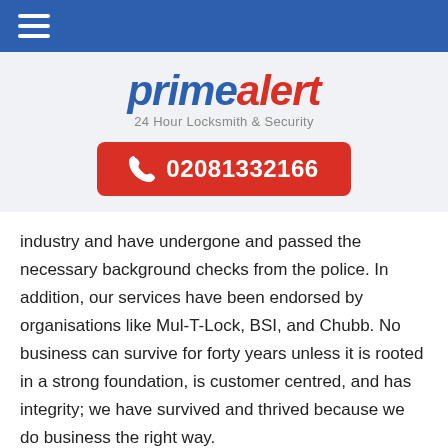Navigation bar with hamburger menu
[Figure (logo): primealert logo with tagline '24 Hour Locksmith & Security']
02081332166
industry and have undergone and passed the necessary background checks from the police. In addition, our services have been endorsed by organisations like Mul-T-Lock, BSI, and Chubb. No business can survive for forty years unless it is rooted in a strong foundation, is customer centred, and has integrity; we have survived and thrived because we do business the right way.
Our 24/7 services are available all year